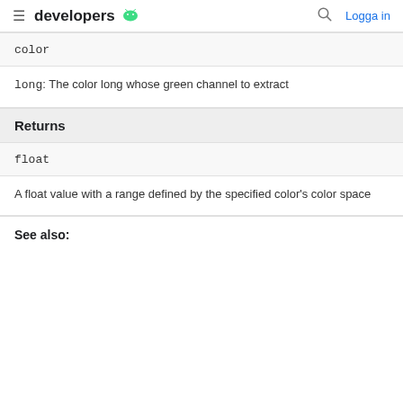developers
color
long: The color long whose green channel to extract
Returns
float
A float value with a range defined by the specified color's color space
See also: